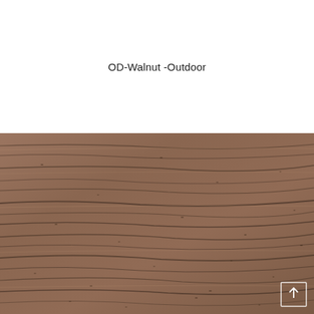OD-Walnut -Outdoor
[Figure (photo): Close-up photo of walnut wood grain texture with dark streaks and grain lines, showing an outdoor finished walnut wood surface sample.]